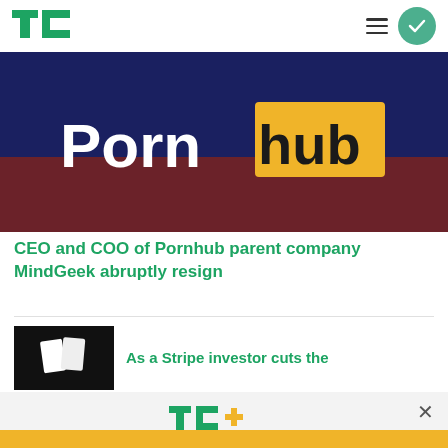TechCrunch
[Figure (photo): Pornhub logo displayed on a dark background with navy and maroon colors]
CEO and COO of Pornhub parent company MindGeek abruptly resign
[Figure (photo): Small thumbnail image, dark/black background]
As a Stripe investor cuts the
[Figure (logo): TC+ logo in green and yellow]
Celebrate Labor Day: Subscribe TechCrunch+ Today Only for $90/Year.
GET OFFER NOW